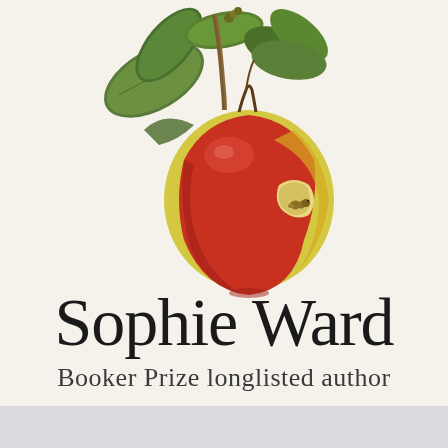[Figure (illustration): Botanical illustration of a red and yellow apple with green leaves on a branch, with a worm visible in a bite mark on the apple. The style is a detailed, realistic botanical watercolor painting on a cream/off-white background.]
Sophie Ward
Booker Prize longlisted author